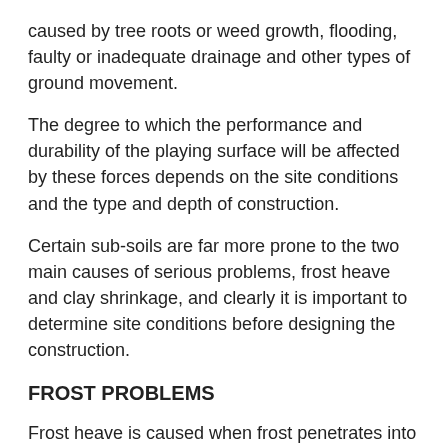caused by tree roots or weed growth, flooding, faulty or inadequate drainage and other types of ground movement.
The degree to which the performance and durability of the playing surface will be affected by these forces depends on the site conditions and the type and depth of construction.
Certain sub-soils are far more prone to the two main causes of serious problems, frost heave and clay shrinkage, and clearly it is important to determine site conditions before designing the construction.
FROST PROBLEMS
Frost heave is caused when frost penetrates into susceptible sub-soils that include a lot of fine silty material. The particular pore sizes of these soils draw water by capillary action into the freezing zone, causing ice 'lenses' to form which then expand and push up towards the surface. The longer and deeper the period of frost penetration the greater is the effect. After thawing, the surface will eventually settle back but the